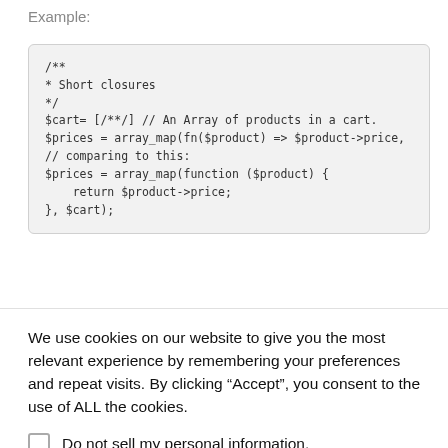Example:
[Figure (screenshot): Code block showing PHP short closure example compared to traditional function syntax]
We use cookies on our website to give you the most relevant experience by remembering your preferences and repeat visits. By clicking “Accept”, you consent to the use of ALL the cookies.
Do not sell my personal information.
Cookie settings
ACCEPT